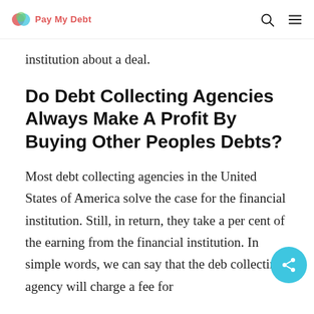Pay My Debt
institution about a deal.
Do Debt Collecting Agencies Always Make A Profit By Buying Other Peoples Debts?
Most debt collecting agencies in the United States of America solve the case for the financial institution. Still, in return, they take a per cent of the earning from the financial institution. In simple words, we can say that the debt collecting agency will charge a fee for taking the case from the company and